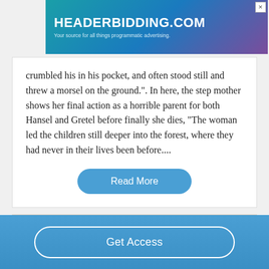[Figure (other): HEADERBIDDING.COM advertisement banner. Blue-purple gradient background. Text: 'HEADERBIDDING.COM' and 'Your source for all things programmatic advertising.']
crumbled his in his pocket, and often stood still and threw a morsel on the ground.". In here, the step mother shows her final action as a horrible parent for both Hansel and Gretel before finally she dies, "The woman led the children still deeper into the forest, where they had never in their lives been before....
Read More
Good Essays
Get Access